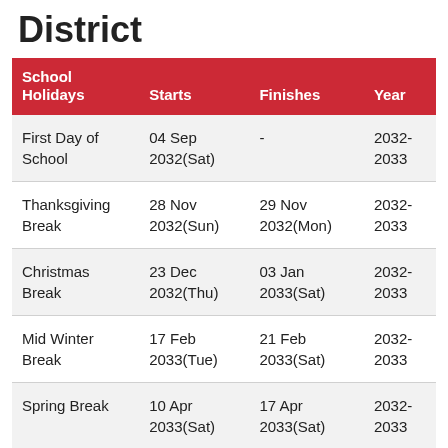District
| School Holidays | Starts | Finishes | Year |
| --- | --- | --- | --- |
| First Day of School | 04 Sep 2032(Sat) | - | 2032-2033 |
| Thanksgiving Break | 28 Nov 2032(Sun) | 29 Nov 2032(Mon) | 2032-2033 |
| Christmas Break | 23 Dec 2032(Thu) | 03 Jan 2033(Sat) | 2032-2033 |
| Mid Winter Break | 17 Feb 2033(Tue) | 21 Feb 2033(Sat) | 2032-2033 |
| Spring Break | 10 Apr 2033(Sat) | 17 Apr 2033(Sat) | 2032-2033 |